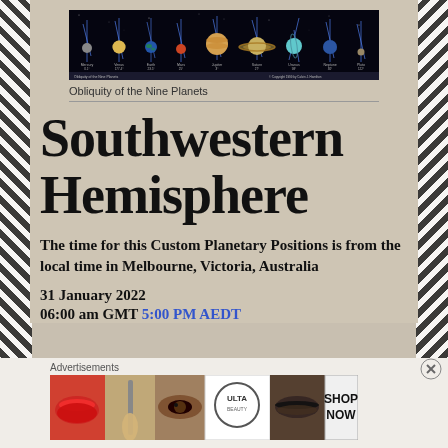[Figure (illustration): Obliquity of the Nine Planets diagram showing planets aligned horizontally against a dark background with tilt axes illustrated]
Obliquity of the Nine Planets
Southwestern Hemisphere
The time for this Custom Planetary Positions is from the local time in Melbourne, Victoria, Australia
31 January 2022
06:00 am GMT 5:00 PM AEDT
Advertisements